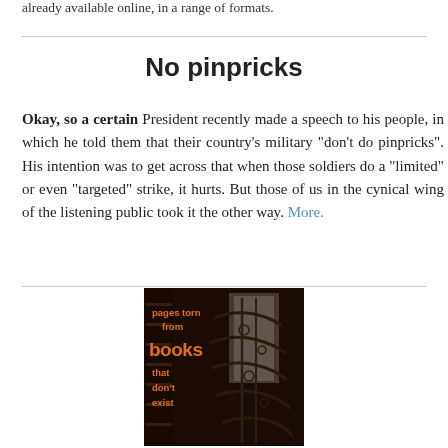already available online, in a range of formats.
No pinpricks
Okay, so a certain President recently made a speech to his people, in which he told them that their country's military "don't do pinpricks". His intention was to get across that when those soldiers do a "limited" or even "targeted" strike, it hurts. But those of us in the cynical wing of the listening public took it the other way. More.
[Figure (illustration): Book cover showing 'pages torn from books that don't exist' text overlaid on a dark image of an ornate spiral iron staircase inside a library or bookshop, with orange text on dark background.]